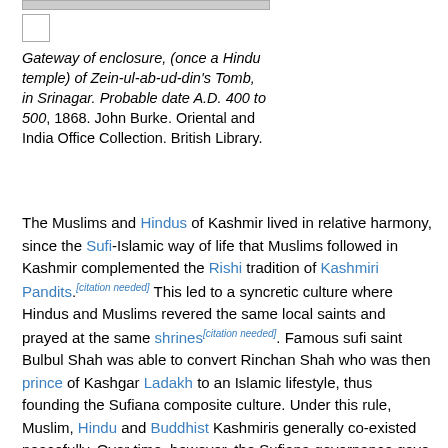[Figure (photo): Placeholder image box at top of page]
Gateway of enclosure, (once a Hindu temple) of Zein-ul-ab-ud-din's Tomb, in Srinagar. Probable date A.D. 400 to 500, 1868. John Burke. Oriental and India Office Collection. British Library.
The Muslims and Hindus of Kashmir lived in relative harmony, since the Sufi-Islamic way of life that Muslims followed in Kashmir complemented the Rishi tradition of Kashmiri Pandits.[citation needed] This led to a syncretic culture where Hindus and Muslims revered the same local saints and prayed at the same shrines[citation needed]. Famous sufi saint Bulbul Shah was able to convert Rinchan Shah who was then prince of Kashgar Ladakh to an Islamic lifestyle, thus founding the Sufiana composite culture. Under this rule, Muslim, Hindu and Buddhist Kashmiris generally co-existed peacefully. Over time, however, the Sufiana governance gave way to outright Muslim monarchs[21] due to